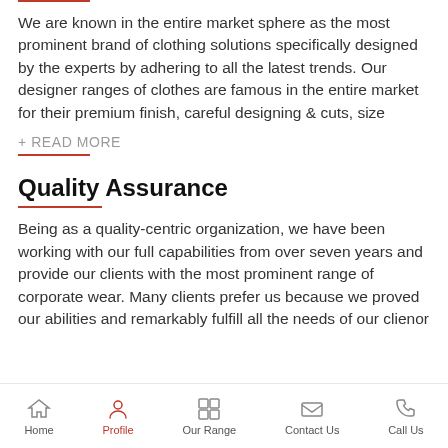We are known in the entire market sphere as the most prominent brand of clothing solutions specifically designed by the experts by adhering to all the latest trends. Our designer ranges of clothes are famous in the entire market for their premium finish, careful designing & cuts, size
+ READ MORE
Quality Assurance
Being as a quality-centric organization, we have been working with our full capabilities from over seven years and provide our clients with the most prominent range of corporate wear. Many clients prefer us because we proved our abilities and remarkably fulfill all the needs of our clien...or
Home | Profile | Our Range | Contact Us | Call Us